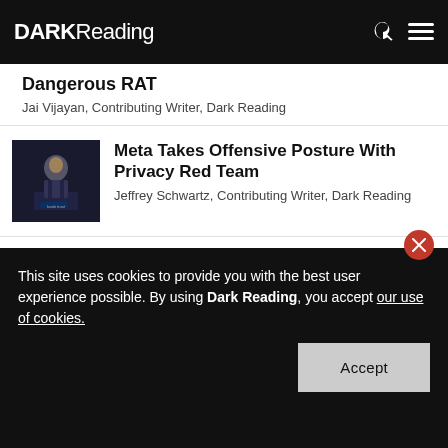DARK Reading
Dangerous RAT
Jai Vijayan, Contributing Writer, Dark Reading
[Figure (photo): Man in suit speaking at a podium with a bank logo]
Meta Takes Offensive Posture With Privacy Red Team
Jeffrey Schwartz, Contributing Writer, Dark Reading
[Figure (photo): Apple logo with a hook/phishing hook graphic on dark background]
Patch Now: 2 Apple Zero-Days Exploited in Wild
Jai Vijayan, Contributing Writer, Dark Reading
This site uses cookies to provide you with the best user experience possible. By using Dark Reading, you accept our use of cookies.